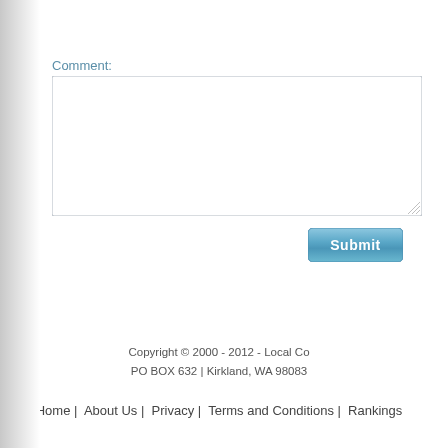Comment:
[Figure (screenshot): A web form textarea input field for entering a comment, with a resize handle at the bottom-right corner.]
[Figure (screenshot): A blue Submit button with white bold text.]
Copyright © 2000 - 2012 - Local Co PO BOX 632 | Kirkland, WA 98083
Home |  About Us |  Privacy |  Terms and Conditions |  Rankings